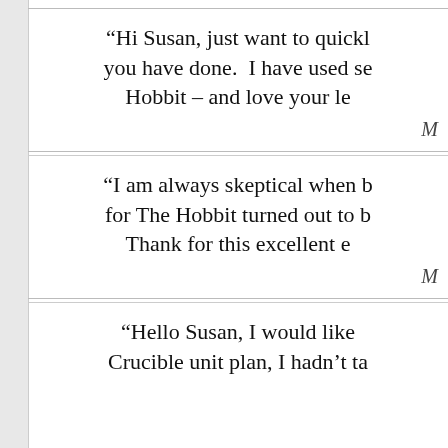“Hi Susan, just want to quickl... you have done. I have used se... Hobbit – and love your le...
M...
“I am always skeptical when b... for The Hobbit turned out to b... Thank for this excellent e...
M...
“Hello Susan, I would like... Crucible unit plan, I hadn’t ta...